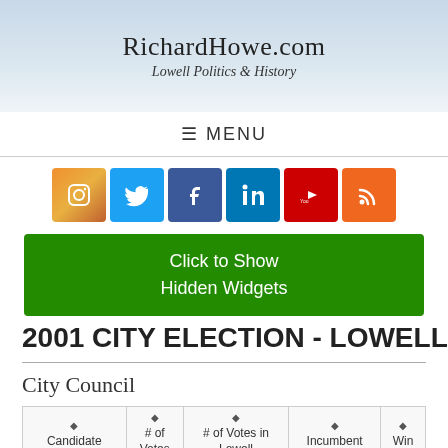RichardHowe.com — Lowell Politics & History
≡ MENU
[Figure (infographic): Social media icons: Instagram, Twitter, Facebook, LinkedIn, YouTube, RSS]
Click to Show Hidden Widgets
2001 CITY ELECTION - LOWELL
City Council
| Candidate | # of Votes | # of Votes in Lowell | Incumbent | Win |
| --- | --- | --- | --- | --- |
| Rita Mercier | 9994 | 9994 |  |  |